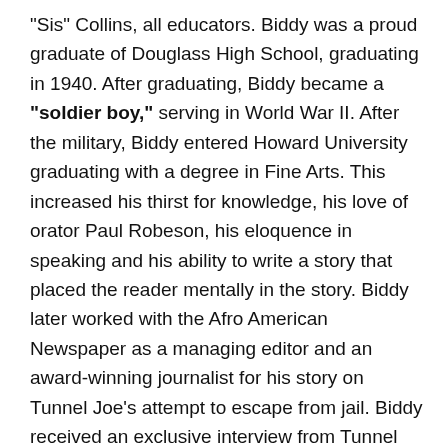“Sis” Collins, all educators. Biddy was a proud graduate of Douglass High School, graduating in 1940. After graduating, Biddy became a “soldier boy,” serving in World War II. After the military, Biddy entered Howard University graduating with a degree in Fine Arts. This increased his thirst for knowledge, his love of orator Paul Robeson, his eloquence in speaking and his ability to write a story that placed the reader mentally in the story. Biddy later worked with the Afro American Newspaper as a managing editor and an award-winning journalist for his story on Tunnel Joe’s attempt to escape from jail. Biddy received an exclusive interview from Tunnel Joe who would only talk to Biddy.
Biddy was a “man of all seasons” with jobs as a